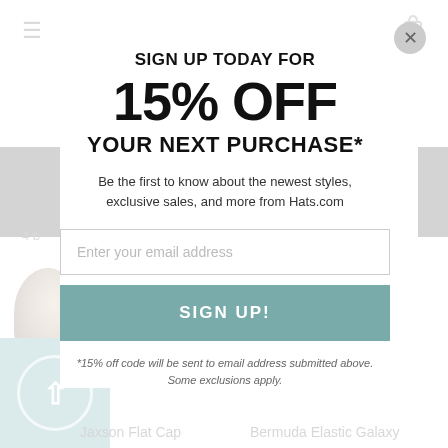[Figure (screenshot): E-commerce website popup modal for Hats.com offering 15% off next purchase for email signup. Background shows partial website with hamburger menu, cart icon, black nav bars, hat product image, teal circle icon, and product names. Foreground modal contains promotional text, email input field, and signup button.]
SIGN UP TODAY FOR 15% OFF YOUR NEXT PURCHASE*
Be the first to know about the newest styles, exclusive sales, and more from Hats.com
Enter your email address
SIGN UP!
*15% off code will be sent to email address submitted above. Some exclusions apply.
Jaxson Flat Cap
Bermuda Elastic Galaxy